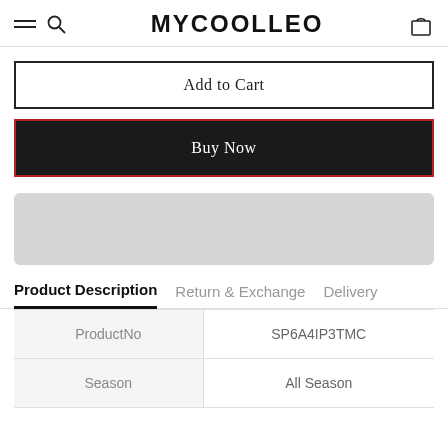MYCOOLLEO
Add to Cart
Buy Now
[Figure (other): Gray placeholder banner/image bar]
Product Description   Return & Exchange   Delivery
|  |  |
| --- | --- |
| ProductNo | SP6A4IP3TMC |
| Season | All Season |